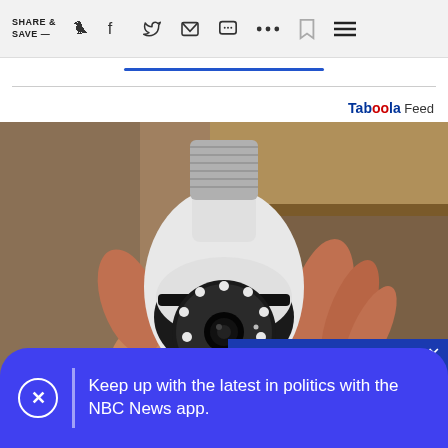SHARE & SAVE —
[Figure (screenshot): A hand holding a light bulb-shaped security camera with LED ring and screw base, photographed against a wooden shelf background.]
Taboola Feed
TAP TO UNMUTE
Keep up with the latest in politics with the NBC News app.